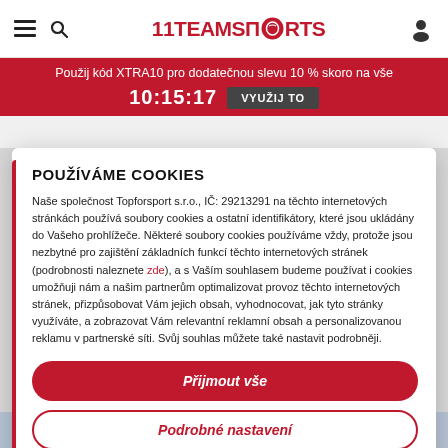11TEAMSPORTS
Použij kód XTRA10 pro dodatečnou slevu 10 % skoro na vše
10:15:17  VYUŽIJ TO
POUŽÍVÁME COOKIES
Naše společnost Topforsport s.r.o., IČ: 29213291 na těchto internetových stránkách používá soubory cookies a ostatní identifikátory, které jsou ukládány do Vašeho prohlížeče. Některé soubory cookies používáme vždy, protože jsou nezbytné pro zajištění základních funkcí těchto internetových stránek (podrobnosti naleznete zde), a s Vaším souhlasem budeme používat i cookies umožňuji nám a našim partnerům optimalizovat provoz těchto internetových stránek, přizpůsobovat Vám jejich obsah, vyhodnocovat, jak tyto stránky využíváte, a zobrazovat Vám relevantní reklamní obsah a personalizovanou reklamu v partnerské síti. Svůj souhlas můžete také nastavit podrobněji.
Přijmout vše
Podrobné nastavení